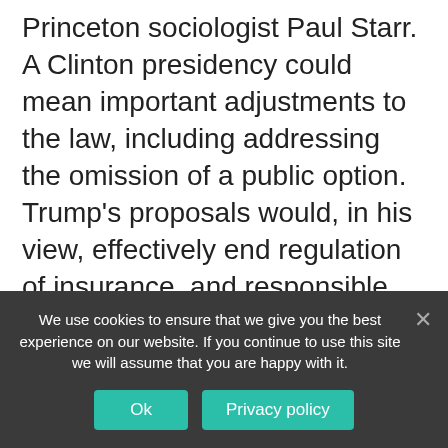Princeton sociologist Paul Starr. A Clinton presidency could mean important adjustments to the law, including addressing the omission of a public option. Trump's proposals would, in his view, effectively end regulation of insurance, and responsible insurers should be worried about fraudulent forms of insurance entering the market. Paul Starr, a professor of sociology and public affairs at Princeton University, is an expert on American health care policy and its history. His 2011 book, Remedy and Reaction, is a history of the politics of health
We use cookies to ensure that we give you the best experience on our website. If you continue to use this site we will assume that you are happy with it.